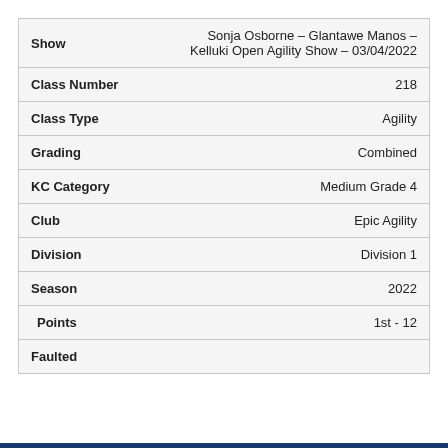| Field | Value |
| --- | --- |
| Show | Sonja Osborne – Glantawe Manos – Kelluki Open Agility Show – 03/04/2022 |
| Class Number | 218 |
| Class Type | Agility |
| Grading | Combined |
| KC Category | Medium Grade 4 |
| Club | Epic Agility |
| Division | Division 1 |
| Season | 2022 |
| Points | 1st - 12 |
| Faulted |  |